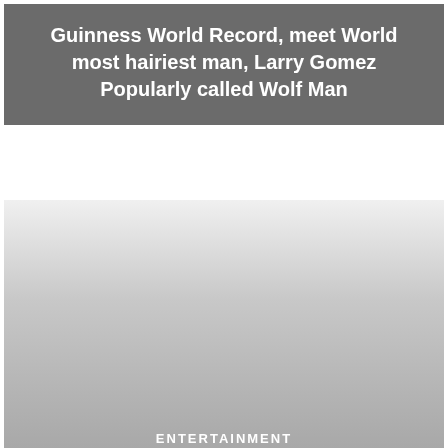Guinness World Record, meet World most hairiest man, Larry Gomez Popularly called Wolf Man
[Figure (photo): Photo placeholder with gradient from light gray to medium gray, with ENTERTAINMENT label at the bottom]
ENTERTAINMENT